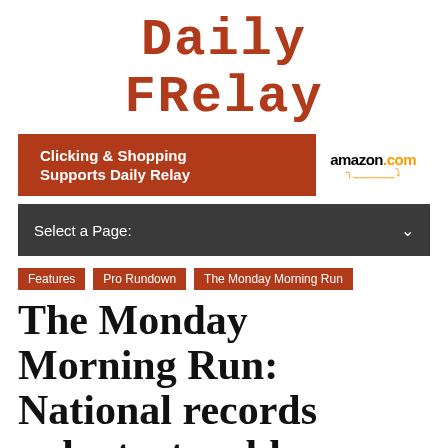[Figure (logo): Daily Relay logo in brick-red monospace font]
[Figure (infographic): Amazon.com advertisement banner: 'Clicking & Shopping Supports Daily Relay' with Amazon.com logo]
[Figure (infographic): Navigation dropdown bar with 'Select a Page:' label and chevron]
Features
Pro Rundown
The Monday Morning Run
The Monday Morning Run: National records aplenty, trouble for US...